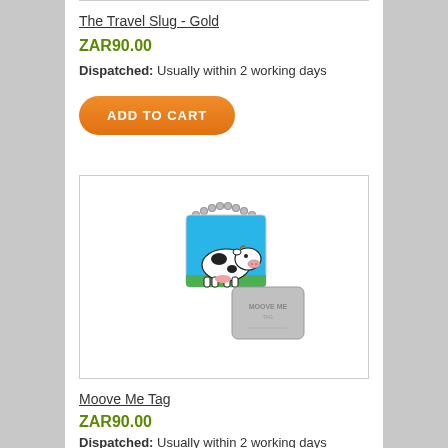The Travel Slug - Gold
ZAR90.00
Dispatched: Usually within 2 working days
ADD TO CART
[Figure (photo): Product photo of a Moove Me Tag showing a cow image tag with ball chain and a silver back tag with 'MOOVE ME' text]
Moove Me Tag
ZAR90.00
Dispatched: Usually within 2 working days